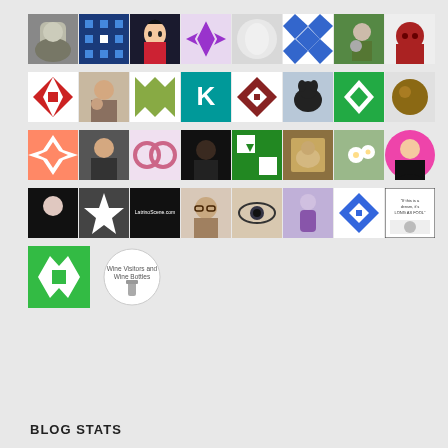[Figure (infographic): Grid of blog follower avatar images arranged in 5 rows. Row 1: 8 avatars including person face, blue geometric pattern, anime character, purple quilt pattern, white feathers, blue geometric, person with cat, red masked figure. Row 2: 8 avatars including red quilt, person with stuffed animal, green quilt, teal K letter, dark red pattern, black dog, green pattern, brown sphere. Row 3: 8 avatars including coral geometric, woman portrait, pink infinity, dark portrait, green/white pattern, book portrait, white flowers, woman circle. Row 4: 8 avatars including goth woman, dark star pattern, LatrinoScene.com text, woman with glasses, stylized eye, purple figure, blue quilt, comic strip panel. Row 5: 2 avatars - green geometric pattern square, circular badge with wine bottles text. Section header BLOG STATS at bottom.]
BLOG STATS